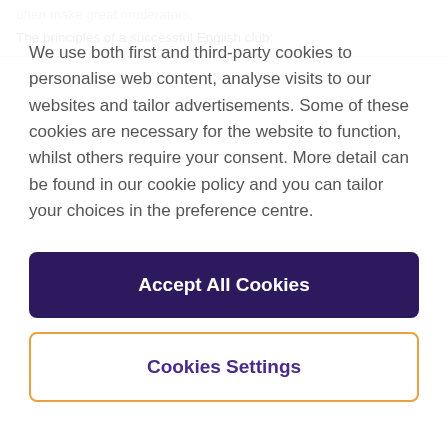often make great moderators.
The principles of a successful English club:
We use both first and third-party cookies to personalise web content, analyse visits to our websites and tailor advertisements. Some of these cookies are necessary for the website to function, whilst others require your consent. More detail can be found in our cookie policy and you can tailor your choices in the preference centre.
Accept All Cookies
Cookies Settings